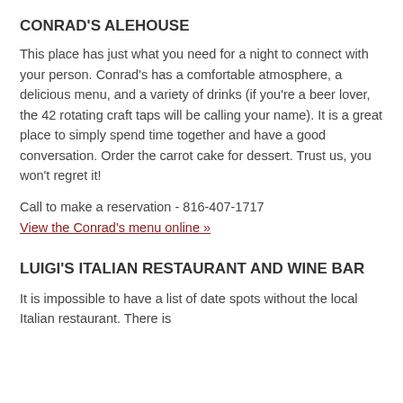CONRAD'S ALEHOUSE
This place has just what you need for a night to connect with your person. Conrad's has a comfortable atmosphere, a delicious menu, and a variety of drinks (if you're a beer lover, the 42 rotating craft taps will be calling your name). It is a great place to simply spend time together and have a good conversation. Order the carrot cake for dessert. Trust us, you won't regret it!
Call to make a reservation - 816-407-1717
View the Conrad's menu online »
LUIGI'S ITALIAN RESTAURANT AND WINE BAR
It is impossible to have a list of date spots without the local Italian restaurant. There is